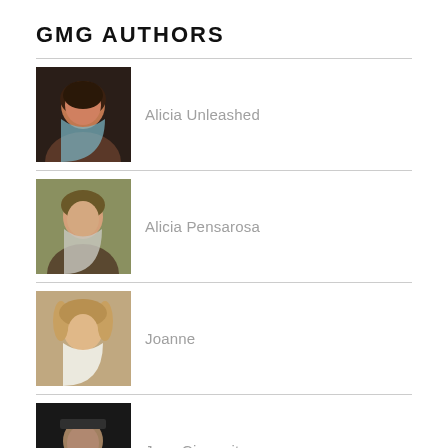GMG AUTHORS
Alicia Unleashed
Alicia Pensarosa
Joanne
Joey Ciaramitaro
Marty Luster